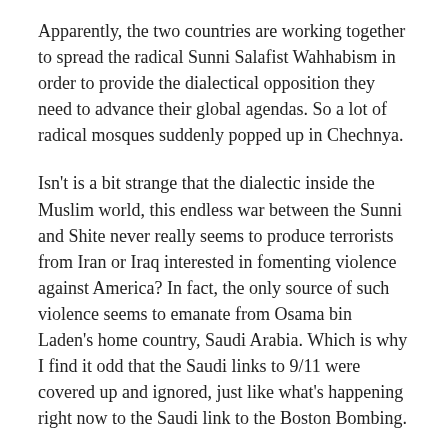Apparently, the two countries are working together to spread the radical Sunni Salafist Wahhabism in order to provide the dialectical opposition they need to advance their global agendas. So a lot of radical mosques suddenly popped up in Chechnya.
Isn't is a bit strange that the dialectic inside the Muslim world, this endless war between the Sunni and Shite never really seems to produce terrorists from Iran or Iraq interested in fomenting violence against America? In fact, the only source of such violence seems to emanate from Osama bin Laden's home country, Saudi Arabia. Which is why I find it odd that the Saudi links to 9/11 were covered up and ignored, just like what's happening right now to the Saudi link to the Boston Bombing.
And honestly, aside from the eyeliner, I don't see much difference in the looks between these two dudes, so